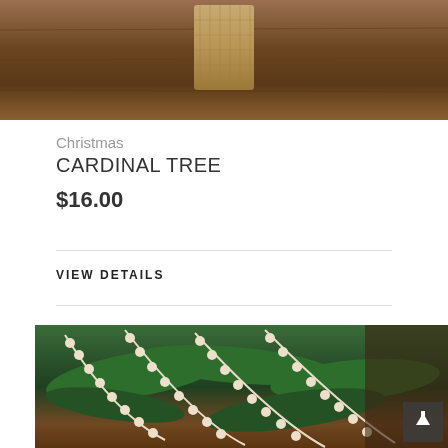[Figure (photo): Top portion of a product photo showing a burlap/hessian wrapped item on a dark wooden background]
Christmas
CARDINAL TREE
$16.00
VIEW DETAILS
[Figure (photo): Photo of cream/white wooden bead garland draped over green cedar/pine branches on a wooden surface with a fireplace in the background]